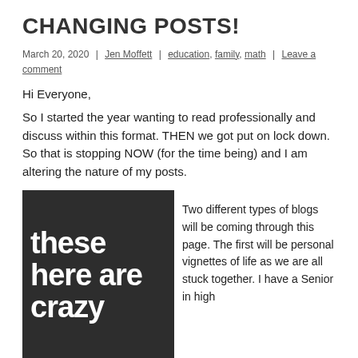CHANGING POSTS!
March 20, 2020  |  Jen Moffett  |  education, family, math  |  Leave a comment
Hi Everyone,
So I started the year wanting to read professionally and discuss within this format. THEN we got put on lock down. So that is stopping NOW (for the time being) and I am altering the nature of my posts.
[Figure (illustration): Black background image with large white bold text reading 'these here are crazy']
Two different types of blogs will be coming through this page. The first will be personal vignettes of life as we are all stuck together. I have a Senior in high